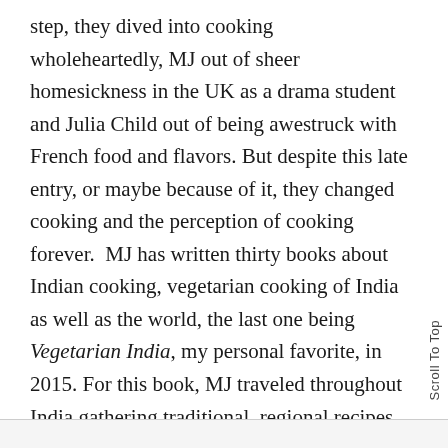step, they dived into cooking wholeheartedly, MJ out of sheer homesickness in the UK as a drama student and Julia Child out of being awestruck with French food and flavors. But despite this late entry, or maybe because of it, they changed cooking and the perception of cooking forever.  MJ has written thirty books about Indian cooking, vegetarian cooking of India as well as the world, the last one being Vegetarian India, my personal favorite, in 2015. For this book, MJ traveled throughout India gathering traditional, regional recipes from home cooks, families and community kitchens.
Scroll To Top